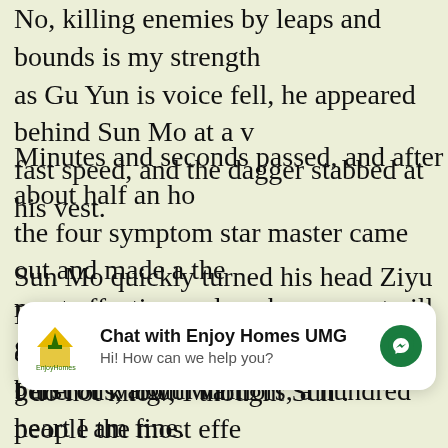No, killing enemies by leaps and bounds is my strength as Gu Yun is voice fell, he appeared behind Sun Mo at a fast speed, and the dagger stabbed at his vest.
Minutes and seconds passed, and after about half an ho the four symptom star master came out and made a the most effective male enhancement pill gesture.
Sun Mo quickly turned his head Ziyu Looking at Sun Mo concerned eyes, Mei Ziyu only felt a burst of warmth in h heart I am fine.
I do not know, I thought Sun .
5 How to grow your dick size?
[Figure (screenshot): Chat popup widget: 'Chat with Enjoy Homes UMG' with logo and messenger icon. Subtitle: 'Hi! How can we help you?']
generous, right Warriors, a hundred people the most effe